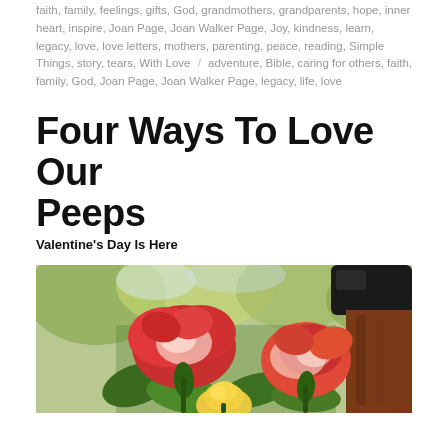faith, family, feelings, gifts, God, grandmothers, grandparents, hope, inner heart, inspire, Joan Page, Joan Walker Page, Joy, kindness, learn, legacy, love, love letters, mothers, parenting, peace, reading, Simple Things, story, tears, With Love / adventure, Bible, caring for others, faith, family, God, Joan Page, Joan Walker Page, legacy, life, love
Four Ways To Love Our Peeps
Valentine's Day Is Here
[Figure (photo): Photograph of red and yellow roses with green leaves against a background of trees with autumn foliage and a wooden structure]